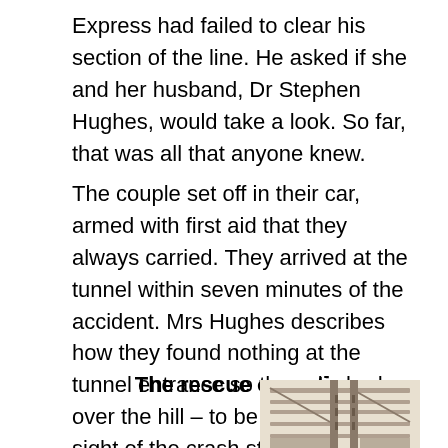Express had failed to clear his section of the line. He asked if she and her husband, Dr Stephen Hughes, would take a look. So far, that was all that anyone knew.
The couple set off in their car, armed with first aid that they always carried. They arrived at the tunnel within seven minutes of the accident. Mrs Hughes describes how they found nothing at the tunnel entrance so they climbed up over the hill – to be greeted by the sight of the crash strewn along the line.
The rescue operation
[Figure (illustration): A partial illustration of a railway crash scene or wreckage, showing structural elements of a train carriage or infrastructure, partially cropped at the bottom right of the page.]